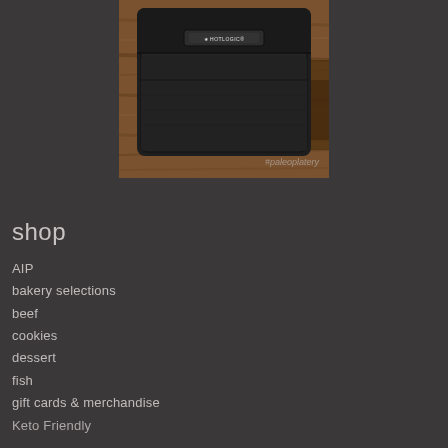[Figure (photo): A black HOTLOGIC branded lunch bag/portable oven pouch placed on a rustic wooden surface, with watermark text '#paleoplatery' in bottom right corner]
shop
AIP
bakery selections
beef
cookies
dessert
fish
gift cards & merchandise
Keto Friendly